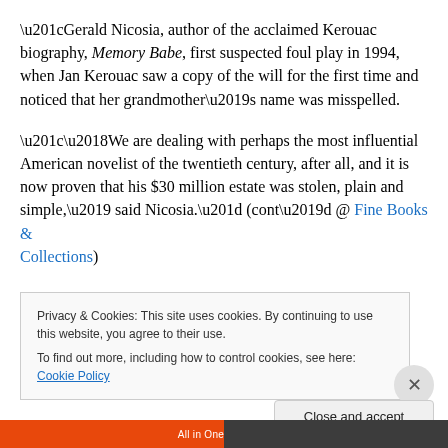“Gerald Nicosia, author of the acclaimed Kerouac biography, Memory Babe, first suspected foul play in 1994, when Jan Kerouac saw a copy of the will for the first time and noticed that her grandmother’s name was misspelled.
“‘We are dealing with perhaps the most influential American novelist of the twentieth century, after all, and it is now proven that his $30 million estate was stolen, plain and simple,’ said Nicosia.” (cont’d @ Fine Books & Collections)
Privacy & Cookies: This site uses cookies. By continuing to use this website, you agree to their use. To find out more, including how to control cookies, see here: Cookie Policy
Close and accept